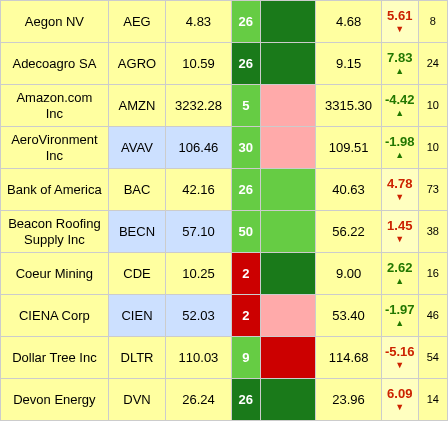| Company | Ticker | Price | # |  | Price2 | % |  |
| --- | --- | --- | --- | --- | --- | --- | --- |
| Aegon NV | AEG | 4.83 | 26 |  | 4.68 | 5.61 ▼ | 8 |
| Adecoagro SA | AGRO | 10.59 | 26 |  | 9.15 | 7.83 ▲ | 24 |
| Amazon.com Inc | AMZN | 3232.28 | 5 |  | 3315.30 | -4.42 ▲ | 10 |
| AeroVironment Inc | AVAV | 106.46 | 30 |  | 109.51 | -1.98 ▲ | 10 |
| Bank of America | BAC | 42.16 | 26 |  | 40.63 | 4.78 ▼ | 73 |
| Beacon Roofing Supply Inc | BECN | 57.10 | 50 |  | 56.22 | 1.45 ▼ | 38 |
| Coeur Mining | CDE | 10.25 | 2 |  | 9.00 | 2.62 ▲ | 16 |
| CIENA Corp | CIEN | 52.03 | 2 |  | 53.40 | -1.97 ▲ | 46 |
| Dollar Tree Inc | DLTR | 110.03 | 9 |  | 114.68 | -5.16 ▼ | 54 |
| Devon Energy | DVN | 26.24 | 26 |  | 23.96 | 6.09 | 14 |